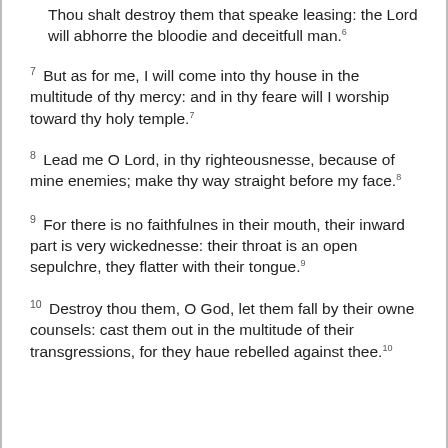Thou shalt destroy them that speake leasing: the Lord will abhorre the bloodie and deceitfull man.6
7 But as for me, I will come into thy house in the multitude of thy mercy: and in thy feare will I worship toward thy holy temple.7
8 Lead me O Lord, in thy righteousnesse, because of mine enemies; make thy way straight before my face.8
9 For there is no faithfulnes in their mouth, their inward part is very wickednesse: their throat is an open sepulchre, they flatter with their tongue.9
10 Destroy thou them, O God, let them fall by their owne counsels: cast them out in the multitude of their transgressions, for they haue rebelled against thee.10